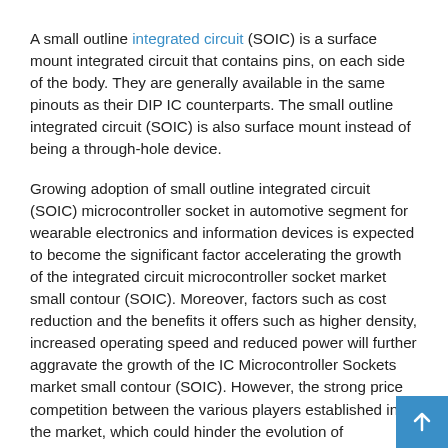A small outline integrated circuit (SOIC) is a surface mount integrated circuit that contains pins, on each side of the body. They are generally available in the same pinouts as their DIP IC counterparts. The small outline integrated circuit (SOIC) is also surface mount instead of being a through-hole device.
Growing adoption of small outline integrated circuit (SOIC) microcontroller socket in automotive segment for wearable electronics and information devices is expected to become the significant factor accelerating the growth of the integrated circuit microcontroller socket market small contour (SOIC). Moreover, factors such as cost reduction and the benefits it offers such as higher density, increased operating speed and reduced power will further aggravate the growth of the IC Microcontroller Sockets market small contour (SOIC). However, the strong price competition between the various players established in the market, which could hinder the evolution of technologies, constitutes a brake on the growth of the market.